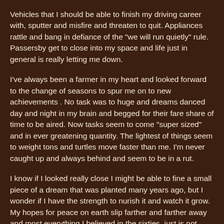Vehicles that I should be able to finish my driving career with, sputter and misfire and threaten to quit. Appliances rattle and bang in defiance of the "we will run quietly" rule. Passersby get to close into my space and life just in general is really letting me down.
I've always been a farmer in my heart and looked forward to the change of seasons to spur me on to new achievements . No task was to huge and dreams danced day and night in my brain and begged for their fare share of time to be aired. Now tasks seem to come "super sized" and in ever greatening quantity. The lightest of things seem to weight tons and turtles move faster than me. I'm never caught up and always behind and seem to be in a rut.
I know if I looked really close I might be able to fine a small piece of a dream that was planted many years ago, but I wonder if I have the strength to nurish it and watch it grow. My hopes for peace on earth slip farther and farther away and most everything I believed in the sixties, just is not coming true,but....